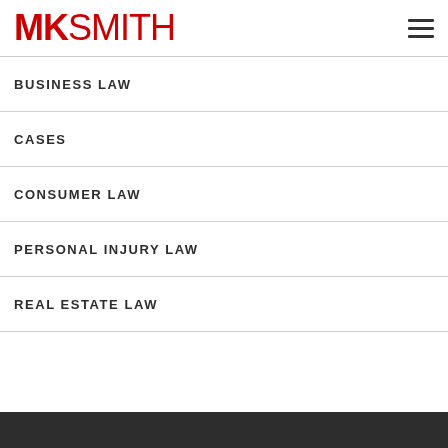MK SMITH
BUSINESS LAW
CASES
CONSUMER LAW
PERSONAL INJURY LAW
REAL ESTATE LAW